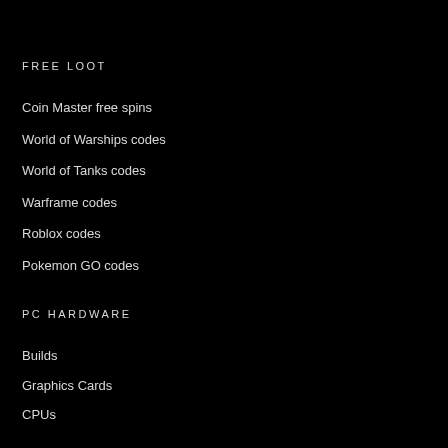FREE LOOT
Coin Master free spins
World of Warships codes
World of Tanks codes
Warframe codes
Roblox codes
Pokemon GO codes
PC HARDWARE
Builds
Graphics Cards
CPUs